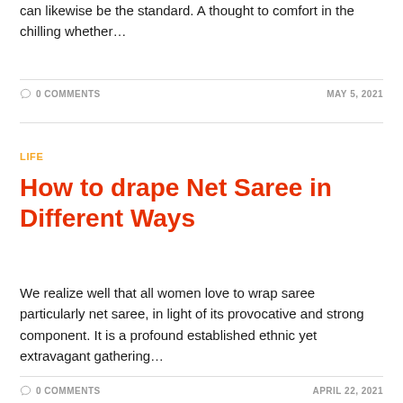can likewise be the standard. A thought to comfort in the chilling whether…
0 COMMENTS  MAY 5, 2021
LIFE
How to drape Net Saree in Different Ways
We realize well that all women love to wrap saree particularly net saree, in light of its provocative and strong component. It is a profound established ethnic yet extravagant gathering…
0 COMMENTS  APRIL 22, 2021